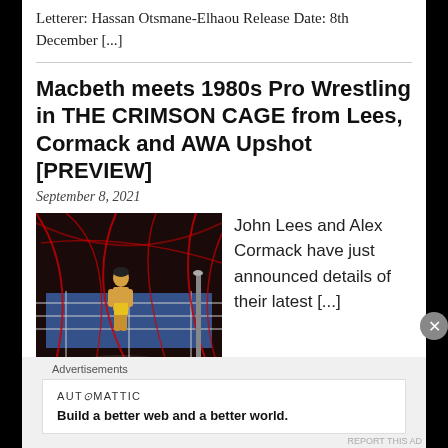Letterer: Hassan Otsmane-Elhaou Release Date: 8th December [...]
Macbeth meets 1980s Pro Wrestling in THE CRIMSON CAGE from Lees, Cormack and AWA Upshot [PREVIEW]
September 8, 2021
[Figure (illustration): Comic book style image of a wrestler in a red cage-like wrestling ring with dark atmospheric background]
John Lees and Alex Cormack have just announced details of their latest [...]
Advertisements
AUT⊙MATTIC
Build a better web and a better world.